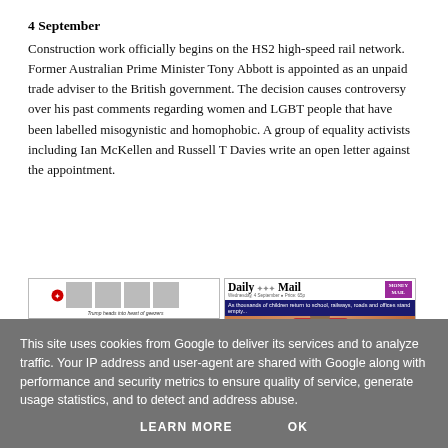4 September
Construction work officially begins on the HS2 high-speed rail network. Former Australian Prime Minister Tony Abbott is appointed as an unpaid trade adviser to the British government. The decision causes controversy over his past comments regarding women and LGBT people that have been labelled misogynistic and homophobic. A group of equality activists including Ian McKellen and Russell T Davies write an open letter against the appointment.
[Figure (photo): Two newspaper front pages: The Independent (left) showing Trump-related story, and Daily Mail (right) with headline 'THEY'RE BACK AT WORK' about children returning to school]
This site uses cookies from Google to deliver its services and to analyze traffic. Your IP address and user-agent are shared with Google along with performance and security metrics to ensure quality of service, generate usage statistics, and to detect and address abuse.
LEARN MORE    OK